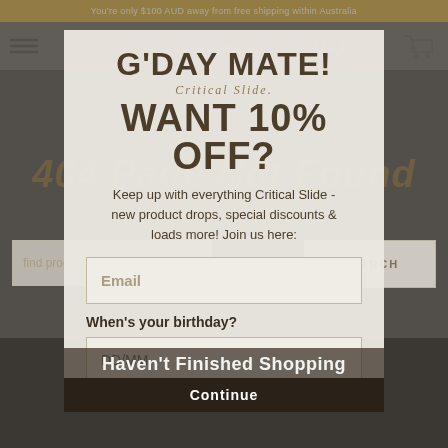You're only $100 AUD away from free shipping within Australia
G'DAY MATE!
WANT 10% OFF?
Critical Slide
404 Page Not Found
The page you requested does not exist.
Keep up with everything Critical Slide - new product drops, special discounts & loads more! Join us here:
Email
When's your birthday?
DD/MM
Haven't Finished Shopping
Continue